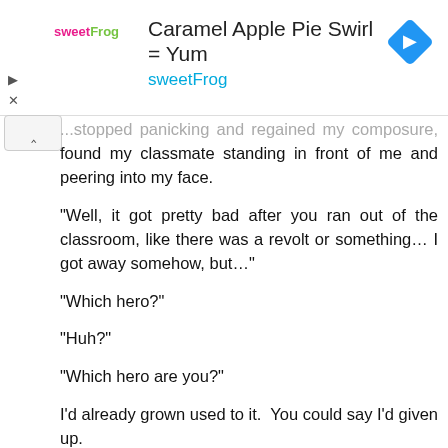[Figure (screenshot): Advertisement banner for sweetFrog: 'Caramel Apple Pie Swirl = Yum' with sweetFrog logo and blue diamond navigation icon]
...stopped panicking and regained my composure, found my classmate standing in front of me and peering into my face.

"Well, it got pretty bad after you ran out of the classroom, like there was a revolt or something... I got away somehow, but..."

"Which hero?"

"Huh?"

"Which hero are you?"

I'd already grown used to it.  You could say I'd given up.